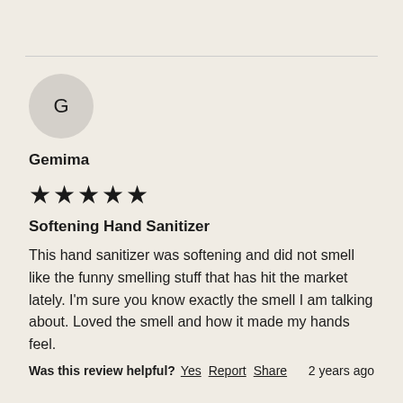[Figure (other): Circular avatar with letter G on a light gray background]
Gemima
★★★★★
Softening Hand Sanitizer
This hand sanitizer was softening and did not smell like the funny smelling stuff that has hit the market lately. I'm sure you know exactly the smell I am talking about. Loved the smell and how it made my hands feel.
Was this review helpful? Yes Report Share  2 years ago